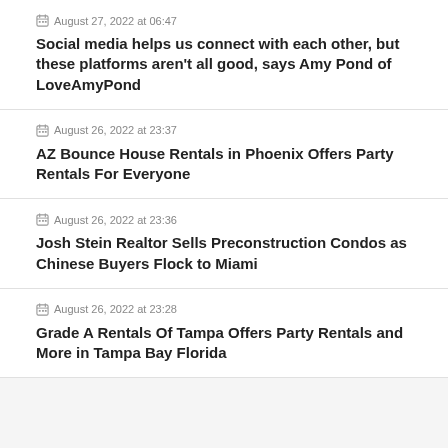August 27, 2022 at 06:47 — Social media helps us connect with each other, but these platforms aren't all good, says Amy Pond of LoveAmyPond
August 26, 2022 at 23:37 — AZ Bounce House Rentals in Phoenix Offers Party Rentals For Everyone
August 26, 2022 at 23:36 — Josh Stein Realtor Sells Preconstruction Condos as Chinese Buyers Flock to Miami
August 26, 2022 at 23:28 — Grade A Rentals Of Tampa Offers Party Rentals and More in Tampa Bay Florida